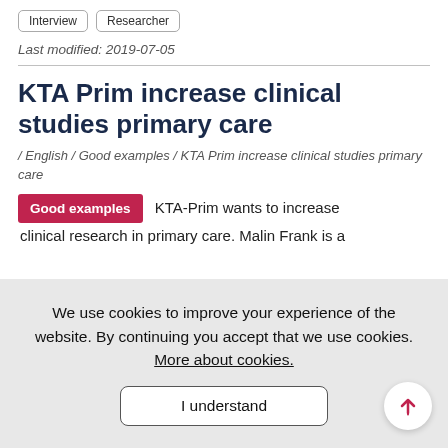Interview  Researcher
Last modified: 2019-07-05
KTA Prim increase clinical studies primary care
/ English / Good examples / KTA Prim increase clinical studies primary care
Good examples  KTA-Prim wants to increase clinical research in primary care. Malin Frank is a
We use cookies to improve your experience of the website. By continuing you accept that we use cookies. More about cookies.
I understand